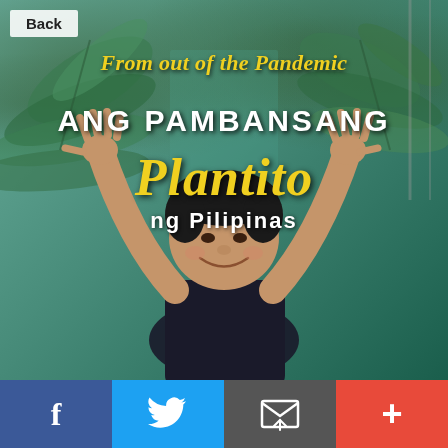[Figure (photo): Book or article cover image showing a smiling Filipino man with arms raised against a teal/green background with tropical plant leaves. The image is styled as a meme/viral content cover.]
Back
From out of the Pandemic
ANG PAMBANSANG
Plantito
ng Pilipinas
f
Twitter bird icon
Email icon
+